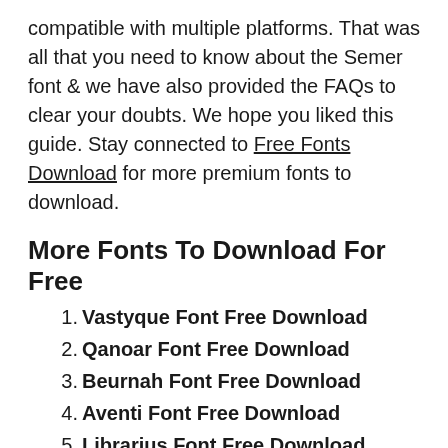compatible with multiple platforms. That was all that you need to know about the Semer font & we have also provided the FAQs to clear your doubts. We hope you liked this guide. Stay connected to Free Fonts Download for more premium fonts to download.
More Fonts To Download For Free
Vastyque Font Free Download
Qanoar Font Free Download
Beurnah Font Free Download
Aventi Font Free Download
Librarius Font Free Download
Chiralla Font Free Download